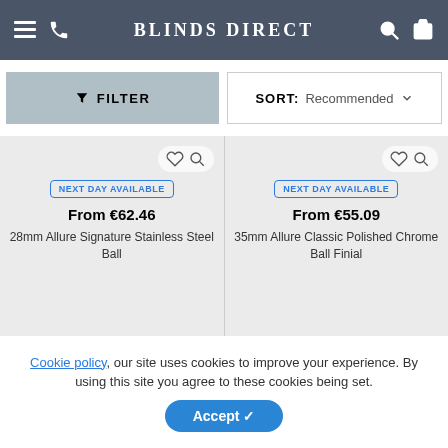BLINDS DIRECT
FILTER
SORT: Recommended
NEXT DAY AVAILABLE
From €62.46
28mm Allure Signature Stainless Steel Ball
NEXT DAY AVAILABLE
From €55.09
35mm Allure Classic Polished Chrome Ball Finial
[Figure (other): 70% OFF sale badge (gold) - left product]
[Figure (other): 70% OFF sale badge (gold) - right product]
Cookie policy, our site uses cookies to improve your experience. By using this site you agree to these cookies being set.
Accept ✓